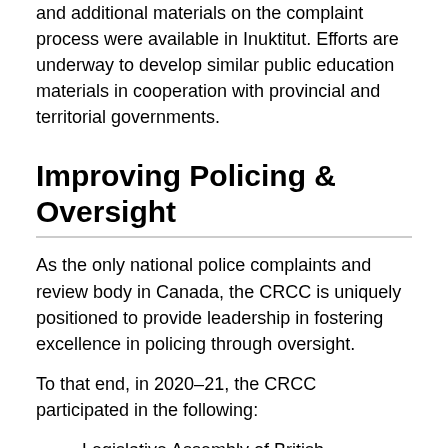and additional materials on the complaint process were available in Inuktitut. Efforts are underway to develop similar public education materials in cooperation with provincial and territorial governments.
Improving Policing & Oversight
As the only national police complaints and review body in Canada, the CRCC is uniquely positioned to provide leadership in fostering excellence in policing through oversight.
To that end, in 2020–21, the CRCC participated in the following:
Legislative Assembly of British Columbia's Special Committee on Reforming the Police Act (presentation available here)
BC Advisory Committee on Provincial Policing Standards (ACOPPS)